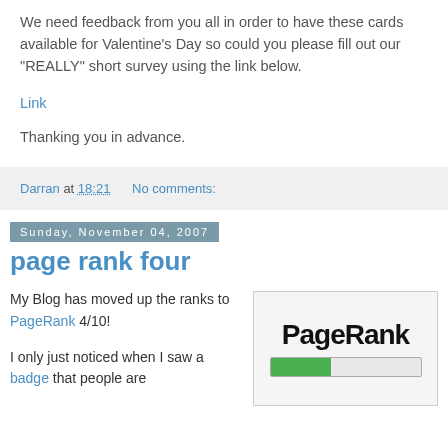We need feedback from you all in order to have these cards available for Valentine's Day so could you please fill out our "REALLY" short survey using the link below.
Link
Thanking you in advance.
Darran at 18:21    No comments:
Sunday, November 04, 2007
page rank four
My Blog has moved up the ranks to PageRank 4/10!
I only just noticed when I saw a badge that people are
[Figure (other): PageRank badge showing the PageRank logo in bold black text and a green progress bar indicating rank 4/10]